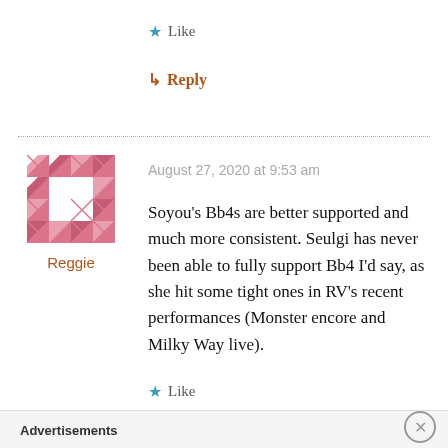★ Like
↳ Reply
[Figure (illustration): User avatar — pink and white geometric quilt pattern square for user Reggie]
Reggie
August 27, 2020 at 9:53 am
Soyou's Bb4s are better supported and much more consistent. Seulgi has never been able to fully support Bb4 I'd say, as she hit some tight ones in RV's recent performances (Monster encore and Milky Way live).
★ Like
Advertisements